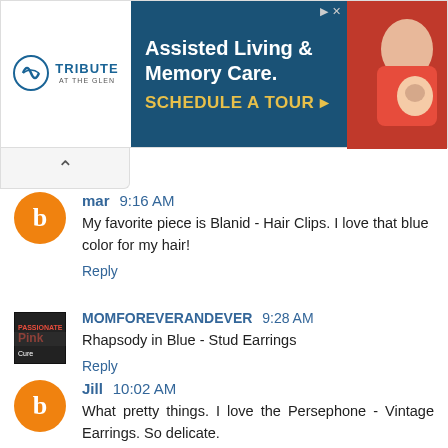[Figure (other): Advertisement banner for Tribute at the Glen - Assisted Living & Memory Care with Schedule a Tour CTA]
mar 9:16 AM
My favorite piece is Blanid - Hair Clips. I love that blue color for my hair!
Reply
MOMFOREVERANDEVER 9:28 AM
Rhapsody in Blue - Stud Earrings
Reply
Jill 10:02 AM
What pretty things. I love the Persephone - Vintage Earrings. So delicate.